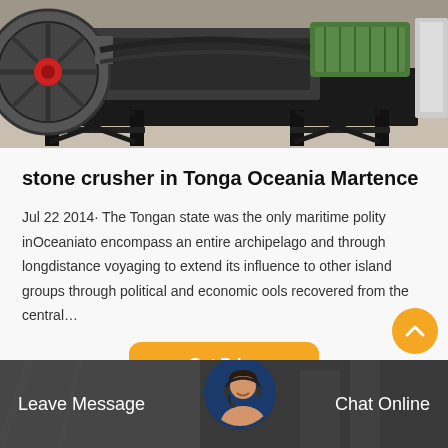[Figure (photo): Industrial stone crusher machine on a black metal frame, with a large flywheel on the left and green motor on the right, photographed in a workshop/factory setting.]
stone crusher in Tonga Oceania Martence
Jul 22 2014· The Tongan state was the only maritime polity inOceaniato encompass an entire archipelago and through longdistance voyaging to extend its influence to other island groups through political and economic ools recovered from the central…
Get Price
[Figure (photo): Customer service representative with headset, circular avatar, overlaid on industrial background. Bottom bar with 'Leave Message' on left and 'Chat Online' on right.]